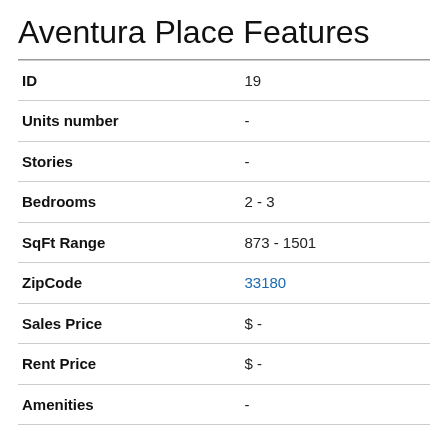Aventura Place Features
| Feature | Value |
| --- | --- |
| ID | 19 |
| Units number | - |
| Stories | - |
| Bedrooms | 2 - 3 |
| SqFt Range | 873 - 1501 |
| ZipCode | 33180 |
| Sales Price | $ - |
| Rent Price | $ - |
| Amenities | - |